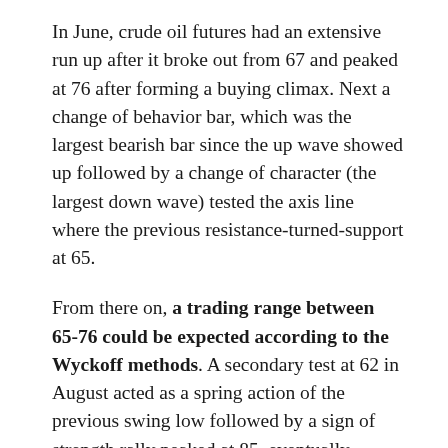In June, crude oil futures had an extensive run up after it broke out from 67 and peaked at 76 after forming a buying climax. Next a change of behavior bar, which was the largest bearish bar since the up wave showed up followed by a change of character (the largest down wave) tested the axis line where the previous resistance-turned-support at 65.
From there on, a trading range between 65-76 could be expected according to the Wyckoff methods. A secondary test at 62 in August acted as a spring action of the previous swing low followed by a sign of strength rally peaked at 85, eventually became an up thrust since it failed to commit above the resistance around 77.
After the failure to commit above 77, crude oil futures started a sharp correction with increasing of